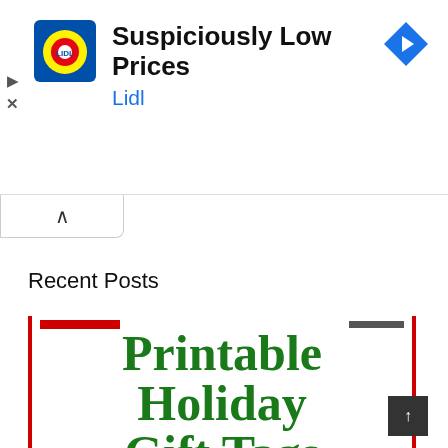[Figure (screenshot): Lidl advertisement banner showing Suspiciously Low Prices with Lidl logo and navigation icon]
Recent Posts
[Figure (screenshot): Partial article thumbnail for Printable Holiday Gift Tags with large green serif text on white background with red border sides]